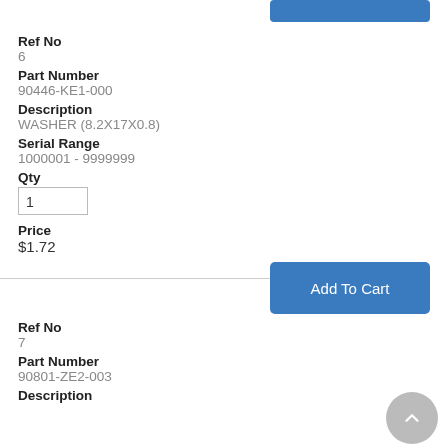Ref No
6
Part Number
90446-KE1-000
Description
WASHER (8.2X17X0.8)
Serial Range
1000001 - 9999999
Qty
1
Price
$1.72
Add To Cart
Ref No
7
Part Number
90801-ZE2-003
Description